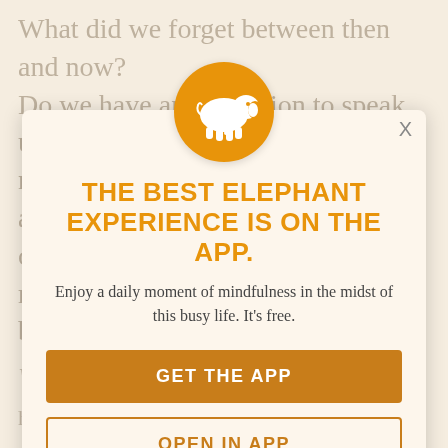What did we forget between then and now? Do we have an obligation to speak up or not? Or are we locking ourselves up again in our small boundaries and restrictive borders?
Watch an ebook with Jane Elliott
[Figure (logo): Orange circle with white elephant icon — Elephant Journal app logo]
THE BEST ELEPHANT EXPERIENCE IS ON THE APP.
Enjoy a daily moment of mindfulness in the midst of this busy life. It's free.
GET THE APP
OPEN IN APP